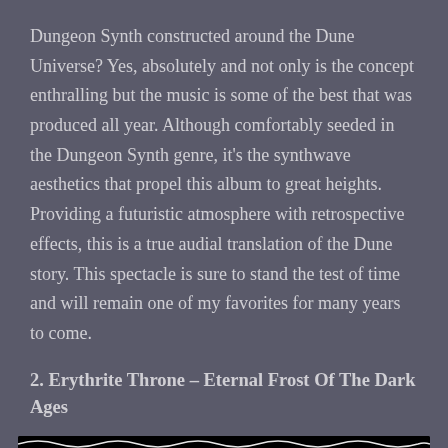Dungeon Synth constructed around the Dune Universe? Yes, absolutely and not only is the concept enthralling but the music is some of the best that was produced all year. Although comfortably seeded in the Dungeon Synth genre, it's the synthwave aesthetics that propel this album to great heights. Providing a futuristic atmosphere with retrospective effects, this is a true audial translation of the Dune story. This spectacle is sure to stand the test of time and will remain one of my favorites for many years to come.
2. Erythrite Throne – Eternal Frost Of The Dark Ages
[Figure (illustration): Black background image with gothic/blackletter text reading 'ERYTHRITE THRONE']